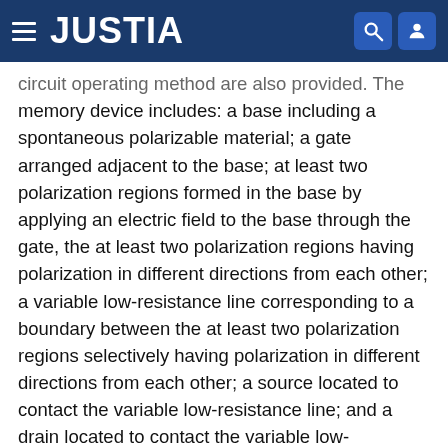JUSTIA
circuit operating method are also provided. The memory device includes: a base including a spontaneous polarizable material; a gate arranged adjacent to the base; at least two polarization regions formed in the base by applying an electric field to the base through the gate, the at least two polarization regions having polarization in different directions from each other; a variable low-resistance line corresponding to a boundary between the at least two polarization regions selectively having polarization in different directions from each other; a source located to contact the variable low-resistance line; and a drain located to contact the variable low-resistance line, wherein the variable low-resistance line is formed in a region of the base, the region having a lower electrical resistance than other regions of the base adjacent to the variable low-resistance line.